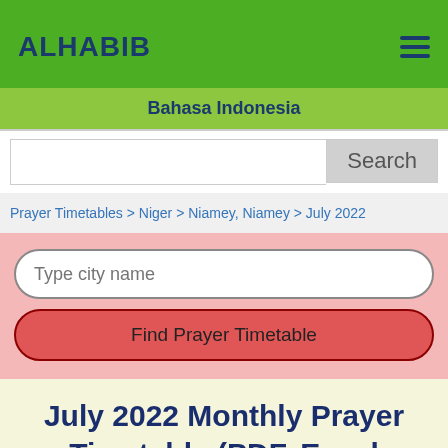ALHABIB
Bahasa Indonesia
Search
Prayer Timetables > Niger > Niamey, Niamey > July 2022
Type city name
Find Prayer Timetable
July 2022 Monthly Prayer Timetable (PDF, Excel versions): Niamey, Niamey, Niger